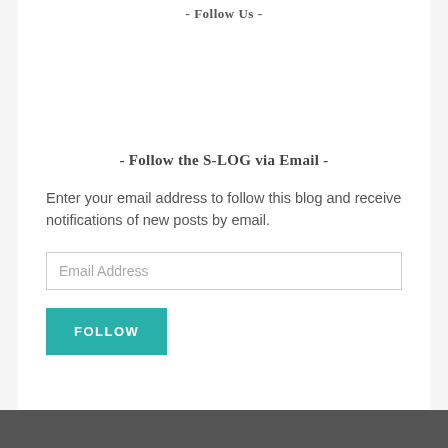- Follow Us -
- Follow the S-LOG via Email -
Enter your email address to follow this blog and receive notifications of new posts by email.
Email Address
FOLLOW